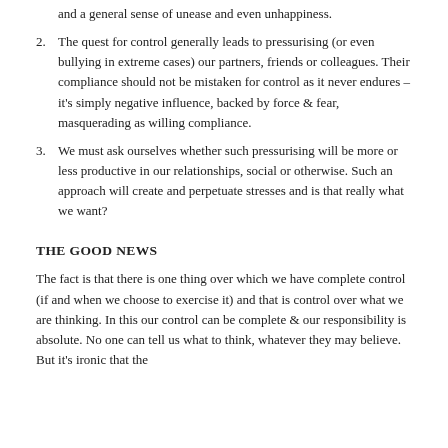and a general sense of unease and even unhappiness.
The quest for control generally leads to pressurising (or even bullying in extreme cases) our partners, friends or colleagues. Their compliance should not be mistaken for control as it never endures – it's simply negative influence, backed by force & fear, masquerading as willing compliance.
We must ask ourselves whether such pressurising will be more or less productive in our relationships, social or otherwise. Such an approach will create and perpetuate stresses and is that really what we want?
THE GOOD NEWS
The fact is that there is one thing over which we have complete control (if and when we choose to exercise it) and that is control over what we are thinking. In this our control can be complete & our responsibility is absolute. No one can tell us what to think, whatever they may believe. But it's ironic that the one thing in our lives over which we can actually claim full...